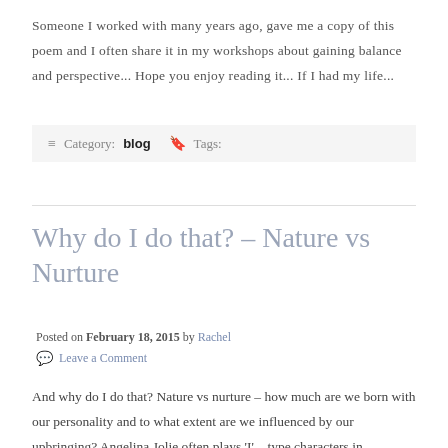Someone I worked with many years ago, gave me a copy of this poem and I often share it in my workshops about gaining balance and perspective... Hope you enjoy reading it... If I had my life...
Category: blog   Tags:
Why do I do that? – Nature vs Nurture
Posted on February 18, 2015 by Rachel
Leave a Comment
And why do I do that? Nature vs nurture – how much are we born with our personality and to what extent are we influenced by our upbringing? Angelina Jolie often plays 'I' – type characters in